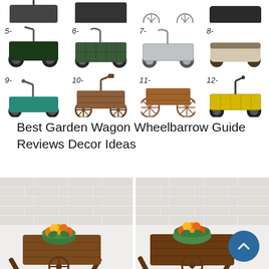[Figure (illustration): Grid of 12 garden wagons/wheelbarrows numbered 1-12. Top row shows bottoms of wagons 1-4 (partially cropped). Row 2 shows wagons 5 (dark green cart with black tires), 6 (dark green mesh wagon), 7 (silver/metal wagon), 8 (beige/grey storage box on wheels). Row 3 shows wagons 9 (teal/green little red wagon), 10 (wooden wagon brown), 11 (rustic wooden western-style wagon), 12 (yellow metal wagon with handle).]
Best Garden Wagon Wheelbarrow Guide Reviews Decor Ideas
[Figure (photo): Two side-by-side photos of rustic wooden wheelbarrow planters against a white brick wall background, each filled with orange and yellow flowers in a green pot. The right photo has a teal scroll-to-top button overlaid in the bottom right corner.]